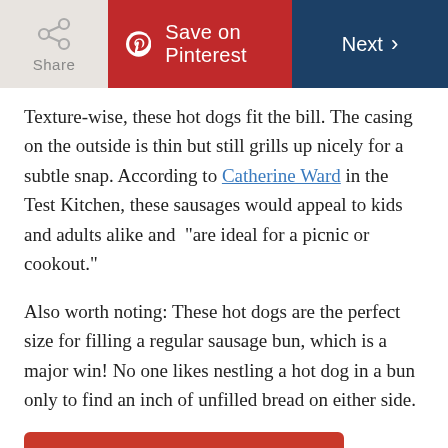Share | Save on Pinterest | Next >
Texture-wise, these hot dogs fit the bill. The casing on the outside is thin but still grills up nicely for a subtle snap. According to Catherine Ward in the Test Kitchen, these sausages would appeal to kids and adults alike and “are ideal for a picnic or cookout.”
Also worth noting: These hot dogs are the perfect size for filling a regular sausage bun, which is a major win! No one likes nestling a hot dog in a bun only to find an inch of unfilled bread on either side.
Shop Now